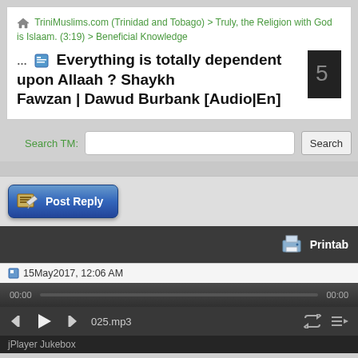TriniMuslims.com (Trinidad and Tobago) > Truly, the Religion with God is Islaam. (3:19) > Beneficial Knowledge
Everything is totally dependent upon Allaah ? Shaykh Fawzan | Dawud Burbank [Audio|En]
Search TM:
[Figure (screenshot): Post Reply button with blue gradient background and pencil/paper icon]
[Figure (screenshot): Dark toolbar bar with Printable text and printer icon]
15May2017, 12:06 AM
[Figure (screenshot): Audio player with progress bar showing 00:00 on both sides, playback controls (previous, play, next), track name 025.mp3, repeat and playlist icons, jPlayer Jukebox label]